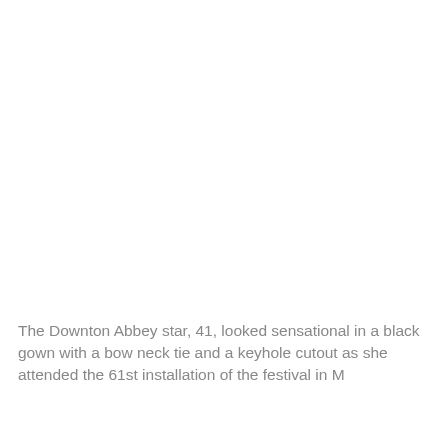[Figure (photo): A large white/blank image area occupying the upper portion of the page, likely a photograph of a person at the 61st installation of the festival.]
The Downton Abbey star, 41, looked sensational in a black gown with a bow neck tie and a keyhole cutout as she attended the 61st installation of the festival in M...